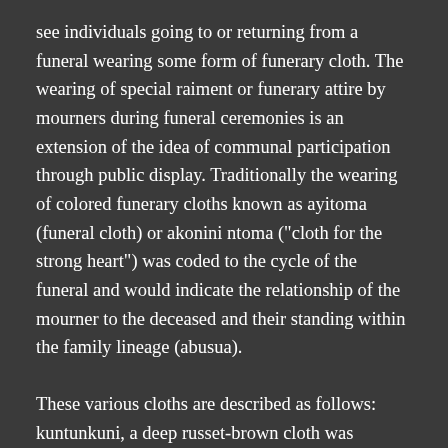see individuals going to or returning from a funeral wearing some form of funerary cloth. The wearing of special raiment or funerary attire by mourners during funeral ceremonies is an extension of the idea of communal participation through public display. Traditionally the wearing of colored funerary cloths known as ayitoma (funeral cloth) or akonini ntoma ("cloth for the strong heart") was coded to the cycle of the funeral and would indicate the relationship of the mourner to the deceased and their standing within the family lineage (abusua).
These various cloths are described as follows: kuntunkuni, a deep russet-brown cloth was customarily worn by the abusua panyin (lineage elder) and close family members the first day after death and often through the burial. Traditionally kuntunkuni cloths are older cloths and often frayed, in some instances previously stamped cloths which have become soiled and